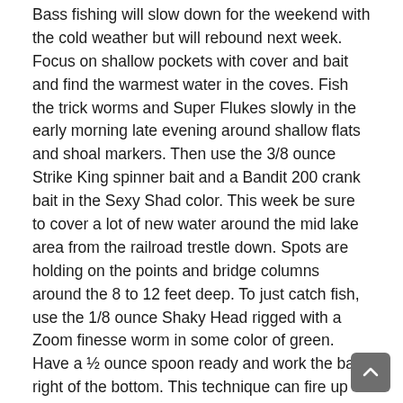Bass fishing will slow down for the weekend with the cold weather but will rebound next week. Focus on shallow pockets with cover and bait and find the warmest water in the coves. Fish the trick worms and Super Flukes slowly in the early morning late evening around shallow flats and shoal markers. Then use the 3/8 ounce Strike King spinner bait and a Bandit 200 crank bait in the Sexy Shad color. This week be sure to cover a lot of new water around the mid lake area from the railroad trestle down. Spots are holding on the points and bridge columns around the 8 to 12 feet deep. To just catch fish, use the 1/8 ounce Shaky Head rigged with a Zoom finesse worm in some color of green. Have a ½ ounce spoon ready and work the bait right of the bottom. This technique can fire up any school of bass.